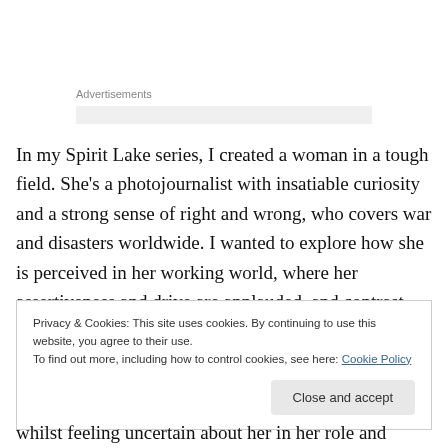Advertisements
In my Spirit Lake series, I created a woman in a tough field. She’s a photojournalist with insatiable curiosity and a strong sense of right and wrong, who covers war and disasters worldwide. I wanted to explore how she is perceived in her working world, where her assertiveness and drive are applauded, and contrast that with how she’s
Privacy & Cookies: This site uses cookies. By continuing to use this website, you agree to their use.
To find out more, including how to control cookies, see here: Cookie Policy
Close and accept
whilst feeling uncertain about her in her role and